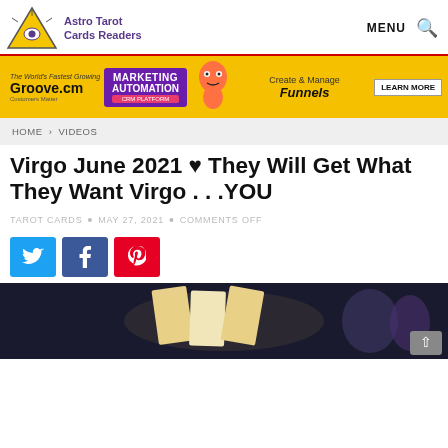Astro Tarot Cards Readers | MENU
[Figure (photo): Yellow advertising banner for Groove.cm marketing automation platform with cartoon mascot]
HOME > VIDEOS
Virgo June 2021 ♥ They Will Get What They Want Virgo . . .YOU
TAROT CARDS • MAY 27, 2021 • COMMENTS OFF
[Figure (infographic): Social share buttons: Twitter (blue), Facebook (dark blue), Pinterest (red)]
[Figure (photo): Dark photo of tarot card reading spread on a table with cards visible]